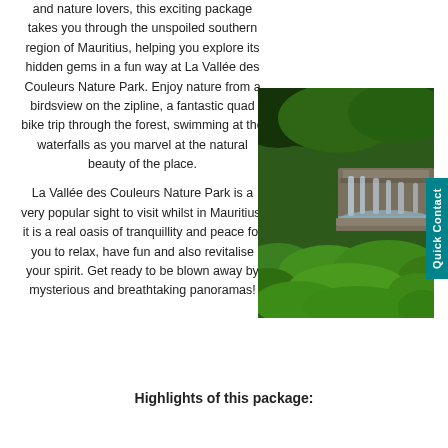and nature lovers, this exciting package takes you through the unspoiled southern region of Mauritius, helping you explore its hidden gems in a fun way at La Vallée des Couleurs Nature Park. Enjoy nature from a birdsview on the zipline, a fantastic quad bike trip through the forest, swimming at the waterfalls as you marvel at the natural beauty of the place.

La Vallée des Couleurs Nature Park is a very popular sight to visit whilst in Mauritius; it is a real oasis of tranquillity and peace for you to relax, have fun and also revitalise your spirit. Get ready to be blown away by mysterious and breathtaking panoramas!
[Figure (photo): Waterfall cascading over stone steps into lush green vegetation, tropical landscape with trees overhead.]
Highlights of this package:
...